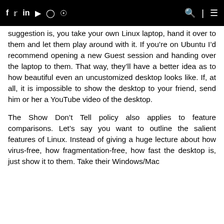f  ✦  in  ▶  ◎  )))   [search] | [menu]
suggestion is, you take your own Linux laptop, hand it over to them and let them play around with it. If you're on Ubuntu I'd recommend opening a new Guest session and handing over the laptop to them. That way, they'll have a better idea as to how beautiful even an uncustomized desktop looks like. If, at all, it is impossible to show the desktop to your friend, send him or her a YouTube video of the desktop.
The Show Don't Tell policy also applies to feature comparisons. Let's say you want to outline the salient features of Linux. Instead of giving a huge lecture about how virus-free, how fragmentation-free, how fast the desktop is, just show it to them. Take their Windows/Mac